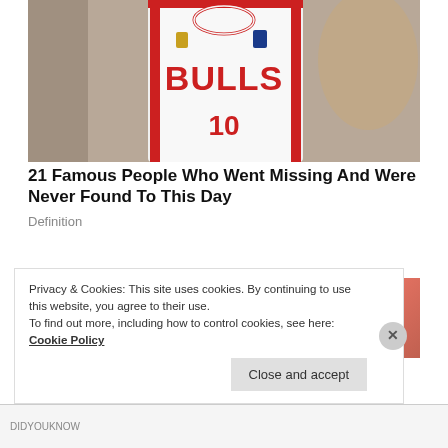[Figure (photo): Person wearing a Chicago Bulls white basketball jersey, upper body visible, another person partially visible to the right]
21 Famous People Who Went Missing And Were Never Found To This Day
Definition
[Figure (photo): Partial view of what appears to be a basketball or sports-related image with green and red colors]
Privacy & Cookies: This site uses cookies. By continuing to use this website, you agree to their use.
To find out more, including how to control cookies, see here: Cookie Policy
Close and accept